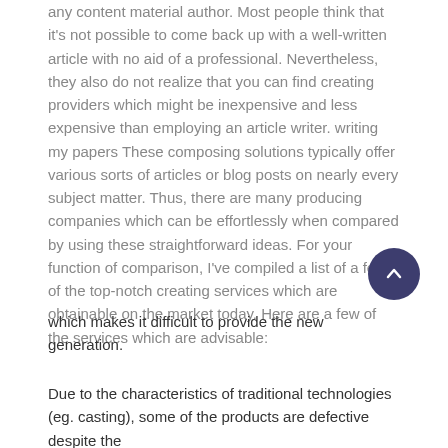any content material author. Most people think that it's not possible to come back up with a well-written article with no aid of a professional. Nevertheless, they also do not realize that you can find creating providers which might be inexpensive and less expensive than employing an article writer. writing my papers These composing solutions typically offer various sorts of articles or blog posts on nearly every subject matter. Thus, there are many producing companies which can be effortlessly when compared by using these straightforward ideas. For your function of comparison, I've compiled a list of a few of the top-notch creating services which are obtainable on the market today. Here are a few of the services which are advisable:
which makes it difficult to provide the new generation.
Due to the characteristics of traditional technologies (eg. casting), some of the products are defective despite the